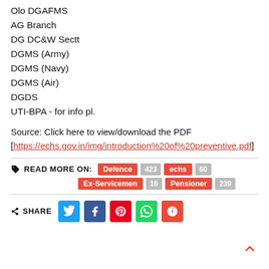Olo DGAFMS
AG Branch
DG DC&W Sectt
DGMS (Army)
DGMS (Navy)
DGMS (Air)
DGDS
UTI-BPA - for info pl.
Source: Click here to view/download the PDF [https://echs.gov.in/img/introduction%20of%20preventive.pdf]
READ MORE ON: Defence 423 echs 60 Ex-Servicemen 16 Pensioner 239
SHARE